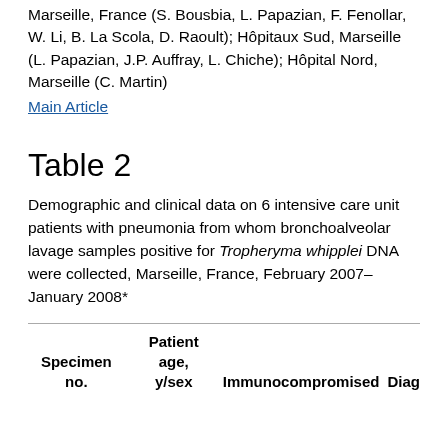Author affiliations: CNRS IHU Faculté de Médecine, Marseille, France (S. Bousbia, L. Papazian, F. Fenollar, W. Li, B. La Scola, D. Raoult); Hôpitaux Sud, Marseille (L. Papazian, J.P. Auffray, L. Chiche); Hôpital Nord, Marseille (C. Martin)
Main Article
Table 2
Demographic and clinical data on 6 intensive care unit patients with pneumonia from whom bronchoalveolar lavage samples positive for Tropheryma whipplei DNA were collected, Marseille, France, February 2007–January 2008*
| Specimen no. | Patient age, y/sex | Immunocompromised | Diag |
| --- | --- | --- | --- |